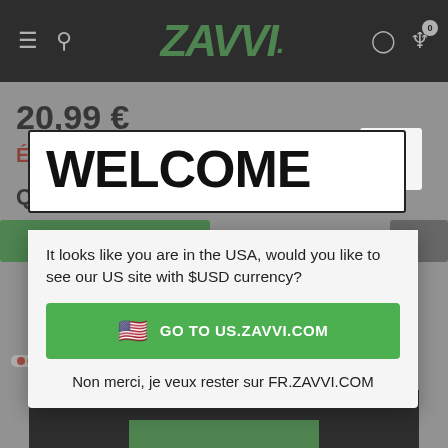[Figure (screenshot): Zavvi e-commerce website header with black navigation bar showing hamburger menu, search icon, ZAVVI logo in green italic, user icon, and cart icon with 0 badge]
20,99 €
É
Q
WELCOME
It looks like you are in the USA, would you like to see our US site with $USD currency?
🇺🇸  GO TO US.ZAVVI.COM
Non merci, je veux rester sur FR.ZAVVI.COM
4 versements de 5,24 € avec Sezzle
En apprendre plus ›